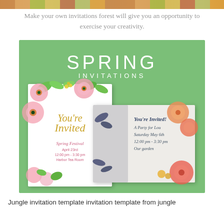[Figure (photo): Top decorative banner strip showing floral/nature themed colorful images]
Make your own invitations forest will give you an opportunity to exercise your creativity.
[Figure (illustration): Green background spring invitations promotional image showing two floral invitation cards. Left card: tall white card with pink and green watercolor flowers, gold script 'You're Invited', text 'Spring Festival, April 23rd, 12:00 pm - 3:30 pm, Harbor Tea Room'. Right card: square card with dark navy and peach floral border, text 'You're Invited! A Party for Lou, Saturday May 6th, 12:00 pm - 3:30 pm, Our garden'. Large white text 'SPRING INVITATIONS' at the top.]
Jungle invitation template invitation template from jungle